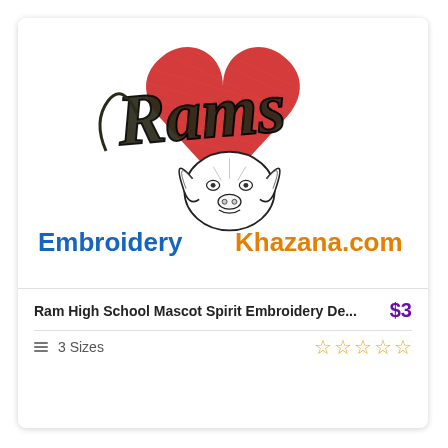[Figure (logo): Embroidery design product image showing a heart shape with red cross-hatched fill, the word 'Rams' in decorative dark script overlaid on the heart, a ram head mascot illustration in black and white below the text, and 'EmbroideryKhazana.com' in bold text with 'Embroidery' in blue and 'Khazana.com' in orange below the design.]
Ram High School Mascot Spirit Embroidery De...
$3
3 Sizes
☆☆☆☆☆